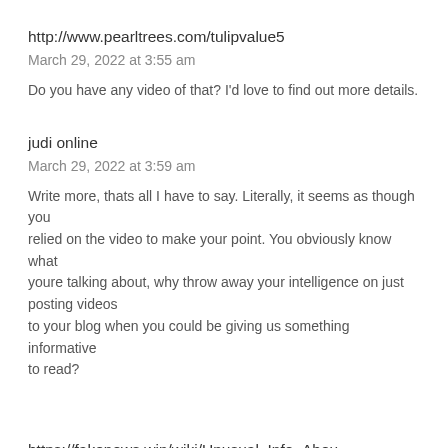http://www.pearltrees.com/tulipvalue5
March 29, 2022 at 3:55 am
Do you have any video of that? I'd love to find out more details.
judi online
March 29, 2022 at 3:59 am
Write more, thats all I have to say. Literally, it seems as though you relied on the video to make your point. You obviously know what youre talking about, why throw away your intelligence on just posting videos to your blog when you could be giving us something informative to read?
https://fakenews.win/wiki/Unusual_Info_About_Minecraft_Server_Software